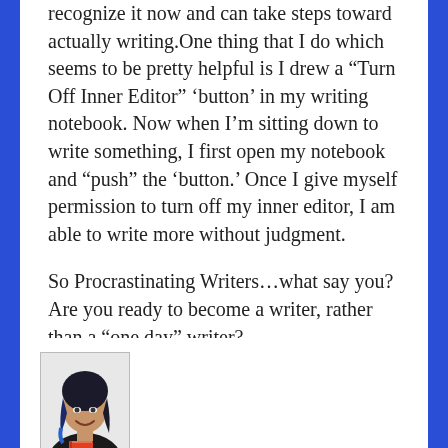recognize it now and can take steps toward actually writing.One thing that I do which seems to be pretty helpful is I drew a “Turn Off Inner Editor” ‘button’ in my writing notebook. Now when I’m sitting down to write something, I first open my notebook and “push” the ‘button.’ Once I give myself permission to turn off my inner editor, I am able to write more without judgment.
So Procrastinating Writers…what say you? Are you ready to become a writer, rather than a “one day” writer?
POSTED IN WRITING •
TAGGED EXCUSES, MOTIVATION, PROCRASTINATION
[Figure (photo): Author photo: woman with blue-tipped dark hair, smiling, wearing dark jacket, holding a book]